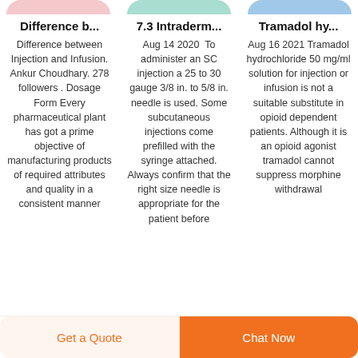[Figure (illustration): Three colored pill/card top shapes: pink, mint, and blue rounded rectangles at the top of three content columns]
Difference b...
7.3 Intraderm...
Tramadol hy...
Difference between Injection and Infusion. Ankur Choudhary. 278 followers . Dosage Form Every pharmaceutical plant has got a prime objective of manufacturing products of required attributes and quality in a consistent manner
Aug 14 2020  To administer an SC injection a 25 to 30 gauge 3/8 in. to 5/8 in. needle is used. Some subcutaneous injections come prefilled with the syringe attached. Always confirm that the right size needle is appropriate for the patient before
Aug 16 2021  Tramadol hydrochloride 50 mg/ml solution for injection or infusion is not a suitable substitute in opioid dependent patients. Although it is an opioid agonist tramadol cannot suppress morphine withdrawal
Get a Quote
Chat Now